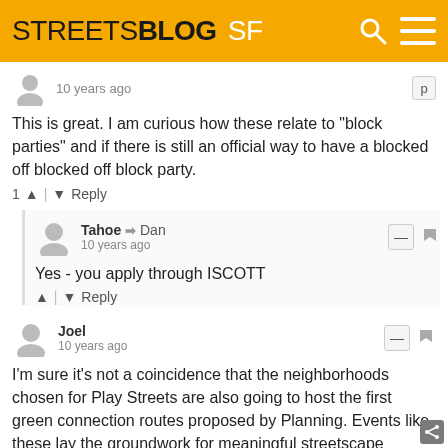STREETSBLOG SF
10 years ago
This is great. I am curious how these relate to "block parties" and if there is still an official way to have a blocked off blocked off block party.
1 ^ | v Reply
Tahoe → Dan
10 years ago
Yes - you apply through ISCOTT
^ | v Reply
Joel
10 years ago
I'm sure it's not a coincidence that the neighborhoods chosen for Play Streets are also going to host the first green connection routes proposed by Planning. Events like these lay the groundwork for meaningful streetscape improvements in our neighborhoods.